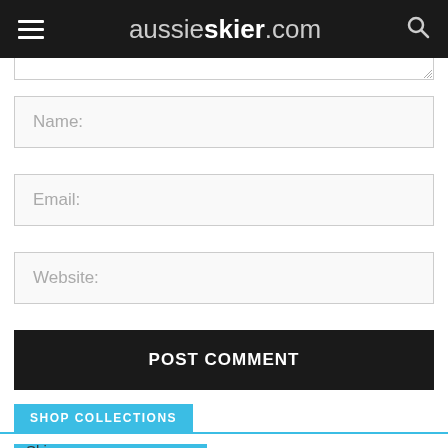aussieskier.com
Name:
Email:
Website:
POST COMMENT
SHOP COLLECTIONS
Skis
Ski Bindings